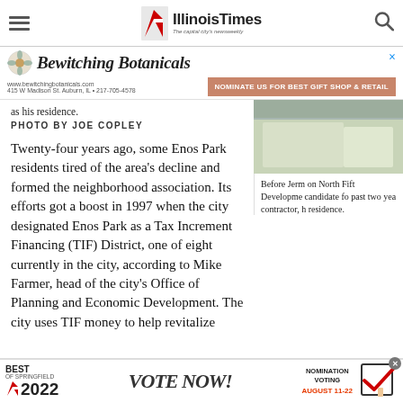Illinois Times — The capital city's newsweekly
[Figure (infographic): Bewitching Botanicals advertisement banner with logo, address, and nomination CTA]
as his residence.
PHOTO BY JOE COPLEY
Twenty-four years ago, some Enos Park residents tired of the area's decline and formed the neighborhood association. Its efforts got a boost in 1997 when the city designated Enos Park as a Tax Increment Financing (TIF) District, one of eight currently in the city, according to Mike Farmer, head of the city's Office of Planning and Economic Development. The city uses TIF money to help revitalize
[Figure (photo): Exterior photo of a house/building]
Before Jerm on North Fift Developme candidate fo past two yea contractor, h residence.
[Figure (infographic): Best of Springfield 2022 advertisement — Vote Now! Nomination voting August 11–22]